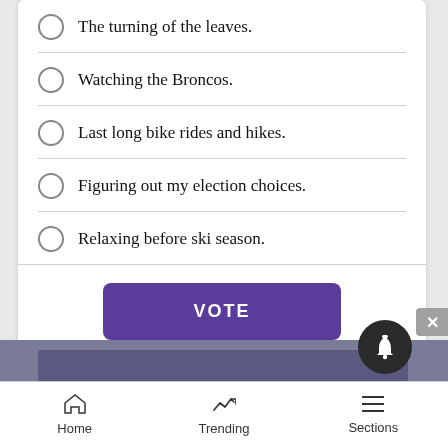The turning of the leaves.
Watching the Broncos.
Last long bike rides and hikes.
Figuring out my election choices.
Relaxing before ski season.
VOTE
VIEW RESULTS
Home  Trending  Sections